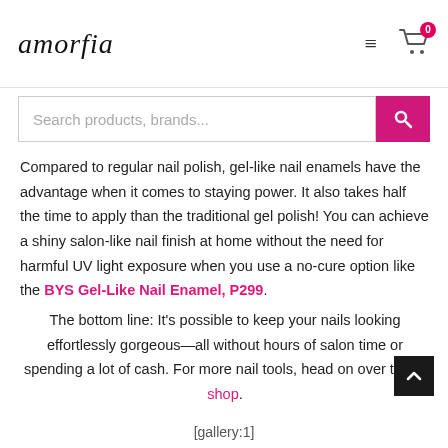amorfia [hamburger menu] [cart icon, 0 items]
Search products, brands...
Compared to regular nail polish, gel-like nail enamels have the advantage when it comes to staying power. It also takes half the time to apply than the traditional gel polish! You can achieve a shiny salon-like nail finish at home without the need for harmful UV light exposure when you use a no-cure option like the BYS Gel-Like Nail Enamel, P299.
The bottom line: It's possible to keep your nails looking effortlessly gorgeous—all without hours of salon time or spending a lot of cash. For more nail tools, head on over to the shop.
[gallery:1]